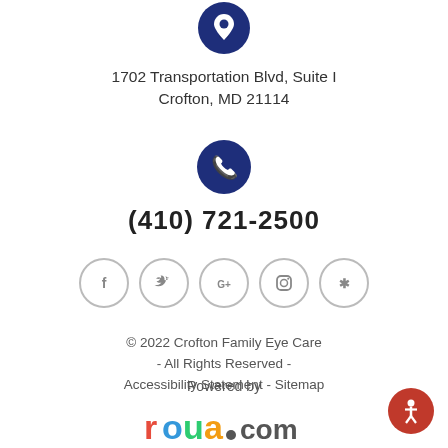[Figure (illustration): Dark navy blue circle with white map pin/location icon inside]
1702 Transportation Blvd, Suite I
Crofton, MD 21114
[Figure (illustration): Dark navy blue circle with white phone/telephone icon inside]
(410) 721-2500
[Figure (illustration): Five social media icon circles (Facebook, Twitter, Google+, Instagram, Yelp) with grey outlines]
© 2022 Crofton Family Eye Care - All Rights Reserved - Accessibility Statement - Sitemap
Powered by
[Figure (logo): roua.com logo in colorful text]
[Figure (illustration): Red circle accessibility icon (wheelchair symbol)]